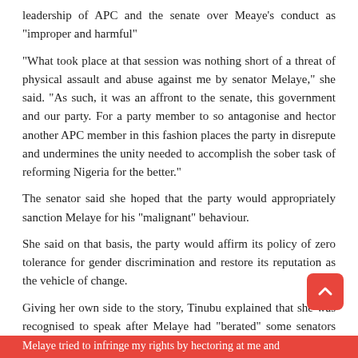leadership of APC and the senate over Meaye's conduct as "improper and harmful"
"What took place at that session was nothing short of a threat of physical assault and abuse against me by senator Melaye," she said. "As such, it was an affront to the senate, this government and our party. For a party member to so antagonise and hector another APC member in this fashion places the party in disrepute and undermines the unity needed to accomplish the sober task of reforming Nigeria for the better." The senator said she hoped that the party would appropriately sanction Melaye for his "malignant" behaviour. She said on that basis, the party would affirm its policy of zero tolerance for gender discrimination and restore its reputation as the vehicle of change. Giving her own side to the story, Tinubu explained that she was recognised to speak after Melaye had "berated" some senators over their perceived roles in the judicial case involving the senate leadership. "I remained and attempted no interjection during the statement,
Melaye tried to infringe my rights by hectoring at me and